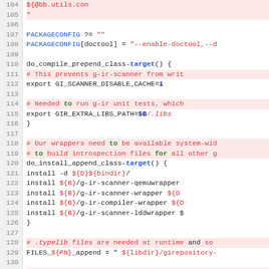Source code listing lines 104-134, showing BitBake recipe code with PACKAGECONFIG, do_compile_prepend_class-target, do_install_append_class-target, and FILES variable assignments.